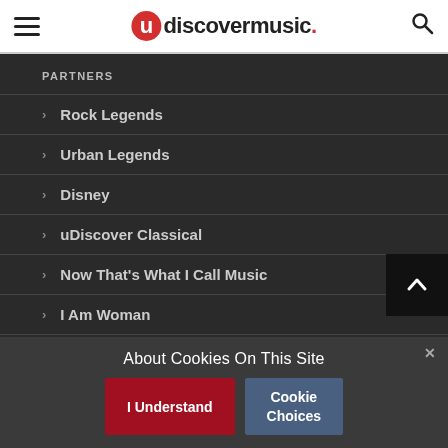uDiscover Music
PARTNERS
Rock Legends
Urban Legends
Disney
uDiscover Classical
Now That's What I Call Music
I Am Woman
This Day In Music
About Cookies On This Site
I Understand | Cookie Choices